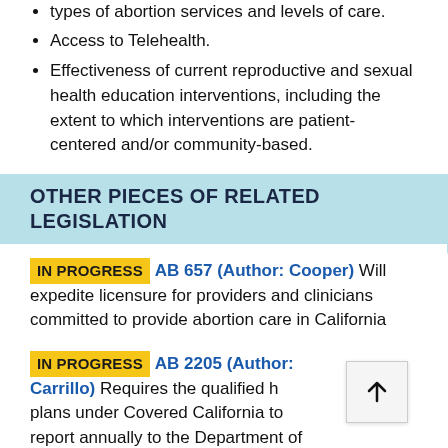types of abortion services and levels of care.
Access to Telehealth.
Effectiveness of current reproductive and sexual health education interventions, including the extent to which interventions are patient-centered and/or community-based.
OTHER PIECES OF RELATED LEGISLATION
IN PROGRESS AB 657 (Author: Cooper) Will expedite licensure for providers and clinicians committed to provide abortion care in California
IN PROGRESS AB 2205 (Author: Carrillo) Requires the qualified health plans under Covered California to report annually to the Department of